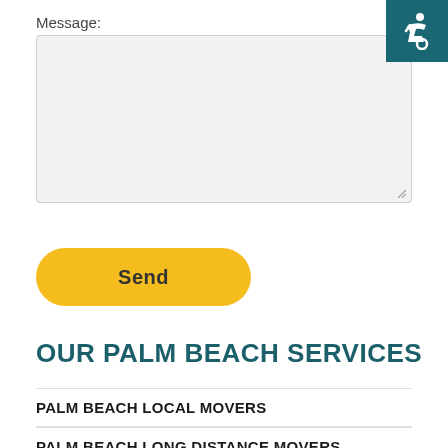Message:
[Figure (other): Accessibility wheelchair icon in teal square in top-right corner]
[Figure (other): Send button - yellow rounded pill button with bold text 'Send']
OUR PALM BEACH SERVICES
PALM BEACH LOCAL MOVERS
PALM BEACH LONG DISTANCE MOVERS
PALM BEACH COMMERCIAL MOVERS